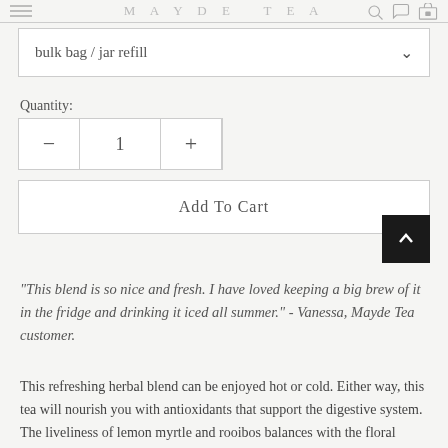MAYDE TEA
bulk bag / jar refill
Quantity:
− 1 +
Add To Cart
"This blend is so nice and fresh. I have loved keeping a big brew of it in the fridge and drinking it iced all summer." - Vanessa, Mayde Tea customer.
This refreshing herbal blend can be enjoyed hot or cold. Either way, this tea will nourish you with antioxidants that support the digestive system. The liveliness of lemon myrtle and rooibos balances with the floral